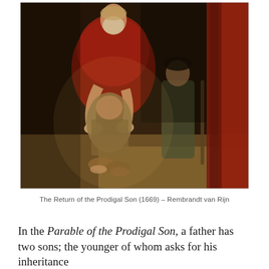[Figure (photo): Rembrandt van Rijn painting 'The Return of the Prodigal Son' (1669). An elderly father in a red robe embraces a kneeling, ragged son from behind. A second standing figure watches from the right background, and a red curtain hangs at the far right.]
The Return of the Prodigal Son (1669) – Rembrandt van Rijn
In the Parable of the Prodigal Son, a father has two sons; the younger of whom asks for his inheritance